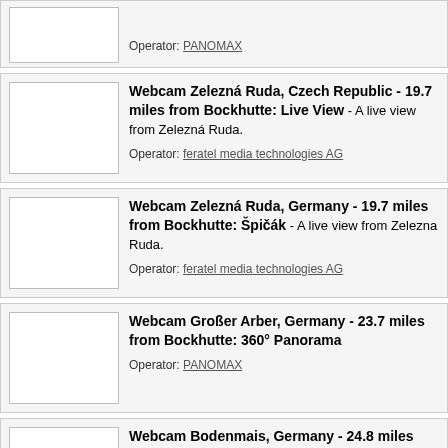Operator: PANOMAX
Webcam Zelezná Ruda, Czech Republic - 19.7 miles from Bockhutte: Live View - A live view from Zelezná Ruda. Operator: feratel media technologies AG
Webcam Zelezná Ruda, Germany - 19.7 miles from Bockhutte: Špičák - A live view from Zelezna Ruda. Operator: feratel media technologies AG
Webcam Großer Arber, Germany - 23.7 miles from Bockhutte: 360° Panorama Operator: PANOMAX
Webcam Bodenmais, Germany - 24.8 miles from Bockhutte: Panorama View - A very nice view of Bodenmais in the Bavarian Forest.